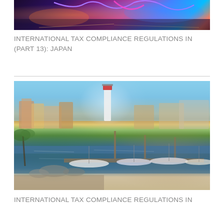[Figure (photo): Aerial night view of an amusement park with colorful roller coasters lit in neon blue, pink, and purple lights, with city streets and parking areas visible below.]
INTERNATIONAL TAX COMPLIANCE REGULATIONS IN (PART 13): JAPAN
[Figure (photo): Daytime photo of a marina or harbor area with a white and red lighthouse, Mediterranean-style buildings with orange and yellow facades, and numerous white boats and yachts docked in calm blue water.]
INTERNATIONAL TAX COMPLIANCE REGULATIONS IN